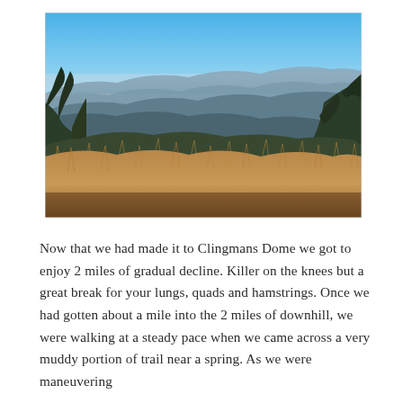[Figure (photo): Panoramic mountain landscape photo taken from Clingmans Dome. The foreground shows dry golden-brown grasses and shrubs. Mid-ground has dark green conifer trees on the left and right edges. Background shows rolling blue-gray mountain ridges receding into distance under a clear blue sky.]
Now that we had made it to Clingmans Dome we got to enjoy 2 miles of gradual decline. Killer on the knees but a great break for your lungs, quads and hamstrings. Once we had gotten about a mile into the 2 miles of downhill, we were walking at a steady pace when we came across a very muddy portion of trail near a spring. As we were maneuvering